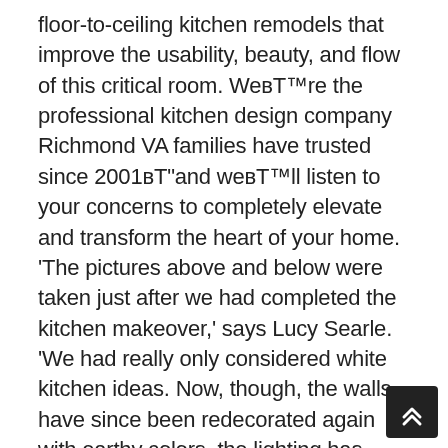floor-to-ceiling kitchen remodels that improve the usability, beauty, and flow of this critical room. We're the professional kitchen design company Richmond VA families have trusted since 2001—and we'll listen to your concerns to completely elevate and transform the heart of your home. 'The pictures above and below were taken just after we had completed the kitchen makeover,' says Lucy Searle. 'We had really only considered white kitchen ideas. Now, though, the walls have since been redecorated again with earthy colors, the lighting has been changed, there's now a warmer-toned herringbone wood floor and there's a rug under the dining table to make what is a very large room feel cozier. However, the bones remain the same.' As a team of professional kitchen design contractors in Richmond, Classic Construction has specialists in every discipline your project might require: architects, engineers, plumbers, electricians